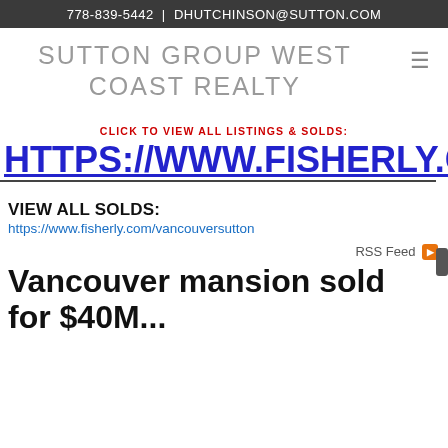778-839-5442  |  DHUTCHINSON@SUTTON.COM
SUTTON GROUP WEST COAST REALTY
CLICK TO VIEW ALL LISTINGS & SOLDS:
HTTPS://WWW.FISHERLY.COM/
VIEW ALL SOLDS:
https://www.fisherly.com/vancouversutton
RSS Feed
Vancouver mansion sold for $40M...